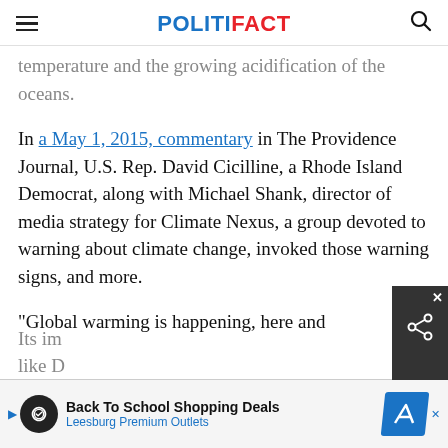POLITIFACT
temperature and the growing acidification of the oceans.
In a May 1, 2015, commentary in The Providence Journal, U.S. Rep. David Cicilline, a Rhode Island Democrat, along with Michael Shank, director of media strategy for Climate Nexus, a group devoted to warning about climate change, invoked those warning signs, and more.
"Global warming is happening, here and Its im like D